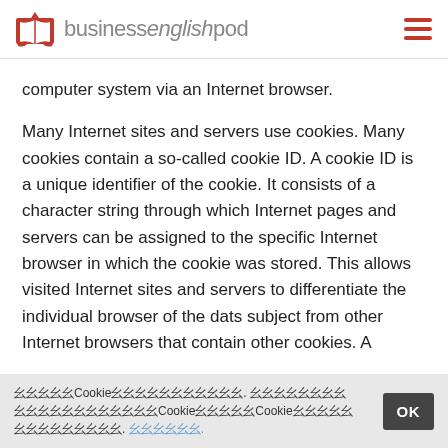businessenglishpod
computer system via an Internet browser.
Many Internet sites and servers use cookies. Many cookies contain a so-called cookie ID. A cookie ID is a unique identifier of the cookie. It consists of a character string through which Internet pages and servers can be assigned to the specific Internet browser in which the cookie was stored. This allows visited Internet sites and servers to differentiate the individual browser of the dats subject from other Internet browsers that contain other cookies. A
[Cookie notice in non-Latin script with OK button]